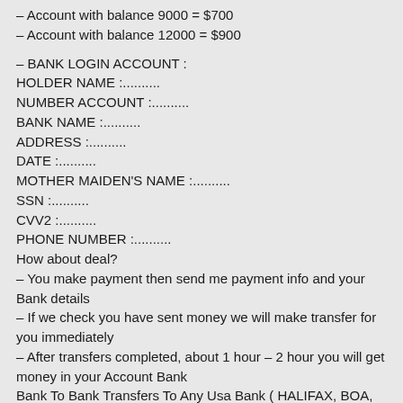– Account with balance 9000 = $700
– Account with balance 12000 = $900
– BANK LOGIN ACCOUNT :
HOLDER NAME :..........
NUMBER ACCOUNT :..........
BANK NAME :..........
ADDRESS :..........
DATE :..........
MOTHER MAIDEN'S NAME :..........
SSN :..........
CVV2 :..........
PHONE NUMBER :..........
How about deal?
– You make payment then send me payment info and your Bank details
– If we check you have sent money we will make transfer for you immediately
– After transfers completed, about 1 hour – 2 hour you will get money in your Account Bank
Bank To Bank Transfers To Any Usa Bank ( HALIFAX, BOA, CHASE, Wells Fargo...)